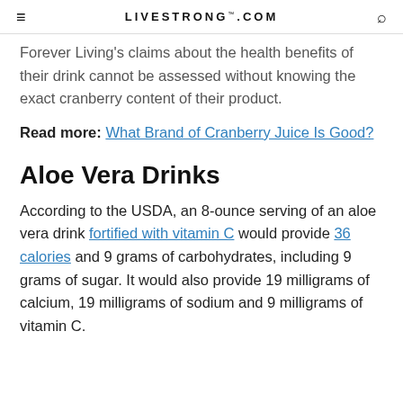LIVESTRONG.COM
Forever Living's claims about the health benefits of their drink cannot be assessed without knowing the exact cranberry content of their product.
Read more: What Brand of Cranberry Juice Is Good?
Aloe Vera Drinks
According to the USDA, an 8-ounce serving of an aloe vera drink fortified with vitamin C would provide 36 calories and 9 grams of carbohydrates, including 9 grams of sugar. It would also provide 19 milligrams of calcium, 19 milligrams of sodium and 9 milligrams of vitamin C.